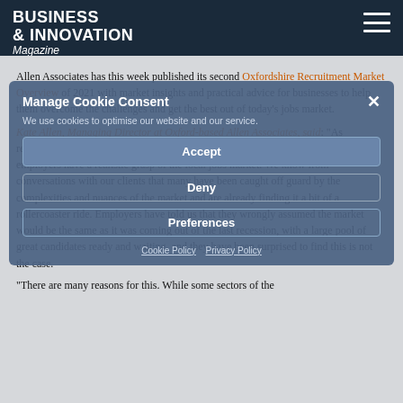BUSINESS & INNOVATION Magazine
Allen Associates has this week published its second Oxfordshire Recruitment Market Overview of 2021 with market insights and practical advice for businesses to help them overcome the challenges and get the best out of today's jobs market.
Kate Allen, Managing Director at Oxford-based Allen Associates, said: "As recruitment in Oxfordshire really starts to take off this quarter, it is important that employers have a realistic grasp of the local jobs market. We know from conversations with our clients that many have been caught off guard by the complexities and nuances of the market and are already finding it a bit of a rollercoaster ride. Employers have told us that they wrongly assumed the market would be the same as it was coming out of the last recession, with a large pool of great candidates ready and waiting, and they have been surprised to find this is not the case.
"There are many reasons for this. While some sectors of the
Manage Cookie Consent
We use cookies to optimise our website and our service.
Accept
Deny
Preferences
Cookie Policy   Privacy Policy